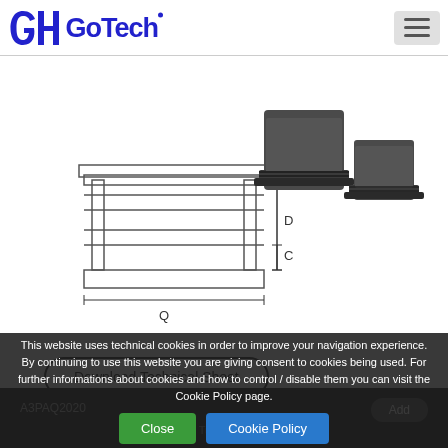[Figure (logo): GoTech company logo in blue with stylized G icon and GoTech text]
[Figure (engineering-diagram): Technical drawing of a square tube end cap showing dimensions labeled D (height), C (collar), and Q (width), alongside two photographs of black plastic square tube end caps]
Download Technical Sheet
This website uses technical cookies in order to improve your navigation experience. By continuing to use this website you are giving consent to cookies being used. For further informations about cookies and how to control / disable them you can visit the Cookie Policy page.
A3PAQ2020
Q Tube Ester...